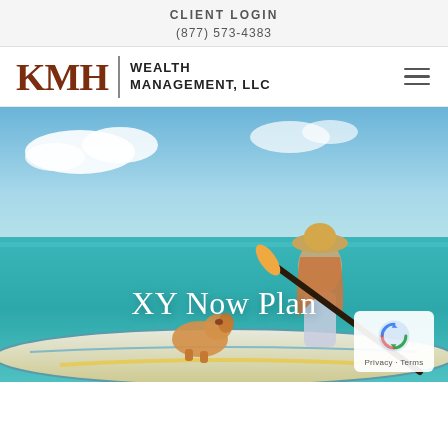CLIENT LOGIN
(877) 573-4383
[Figure (logo): KMH Wealth Management, LLC logo with hamburger menu icon]
[Figure (photo): Woman with a dog on a paddleboard on turquoise ocean water, wearing a straw hat and sunglasses, smiling]
XY Now Plan